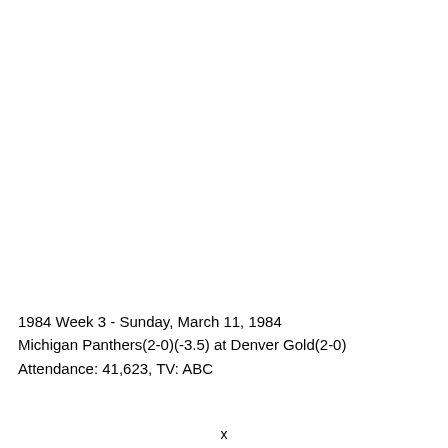1984 Week 3 - Sunday, March 11, 1984
Michigan Panthers(2-0)(-3.5) at Denver Gold(2-0)
Attendance: 41,623, TV: ABC
x